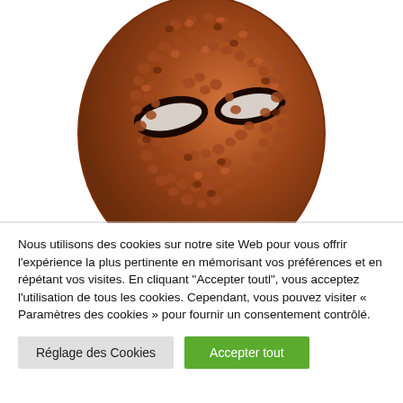[Figure (photo): A decorative mask pendant made from a brown textured material resembling reptile or crocodile skin, with two eye-shaped cutouts, hanging from a chain. Photographed on a white background.]
Nous utilisons des cookies sur notre site Web pour vous offrir l'expérience la plus pertinente en mémorisant vos préférences et en répétant vos visites. En cliquant "Accepter toutl", vous acceptez l'utilisation de tous les cookies. Cependant, vous pouvez visiter « Paramètres des cookies » pour fournir un consentement contrôlé.